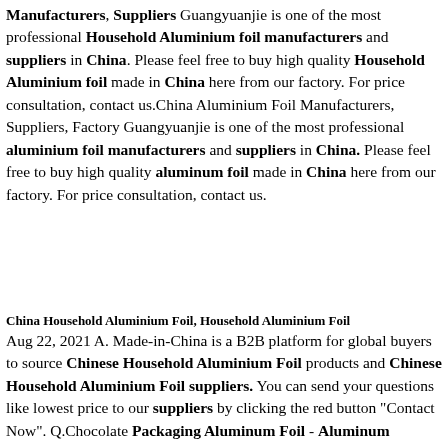Manufacturers, Suppliers Guangyuanjie is one of the most professional Household Aluminium foil manufacturers and suppliers in China. Please feel free to buy high quality Household Aluminium foil made in China here from our factory. For price consultation, contact us.China Aluminium Foil Manufacturers, Suppliers, Factory Guangyuanjie is one of the most professional aluminium foil manufacturers and suppliers in China. Please feel free to buy high quality aluminum foil made in China here from our factory. For price consultation, contact us.
China Household Aluminium Foil, Household Aluminium Foil
Aug 22, 2021 A. Made-in-China is a B2B platform for global buyers to source Chinese Household Aluminium Foil products and Chinese Household Aluminium Foil suppliers. You can send your questions like lowest price to our suppliers by clicking the red button "Contact Now". Q.Chocolate Packaging Aluminum Foil - Aluminum Products Chocolate Packaging Aluminum Foil China Suppliers. It has many kinds of styles, such as laminated paper...